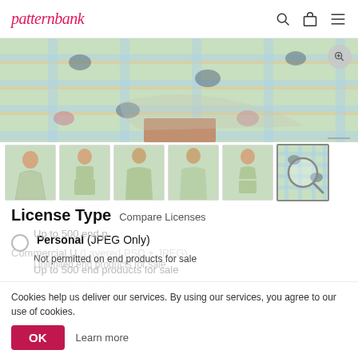patternbank
[Figure (photo): Product photo showing a pastel plaid fabric with leopard print pattern, held by a person]
[Figure (photo): Six thumbnail images showing models wearing pastel plaid leopard print clothing: women's dress, women's top and shorts, men's shirt, men's shirt, women's bikini, and pattern swatch with zoom icon]
License Type  Compare Licenses
Personal (JPEG Only)
Not permitted on end products for sale
Up to 500 end products for sale
Commercial Use (Layered PSD + JPEG)
Unlimited end products for sale
Cookies help us deliver our services. By using our services, you agree to our use of cookies.